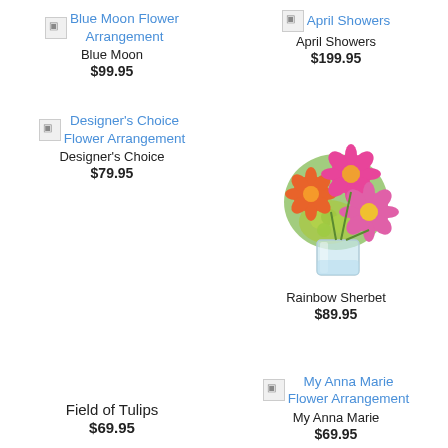[Figure (other): Blue Moon Flower Arrangement product listing with broken image icon, blue link text, product name and price]
Blue Moon Flower Arrangement
Blue Moon
$99.95
[Figure (other): April Showers product listing with broken image icon, blue link text, product name and price]
April Showers
April Showers
$199.95
[Figure (other): Designer's Choice Flower Arrangement product listing with broken image icon, blue link text, product name and price]
Designer's Choice Flower Arrangement
Designer's Choice
$79.95
[Figure (photo): Rainbow Sherbet flower arrangement photo showing pink gerbera daisies, orange flowers and green hydrangeas in a glass vase]
Rainbow Sherbet
$89.95
[Figure (other): Field of Tulips product listing — no image shown]
Field of Tulips
$69.95
[Figure (other): My Anna Marie Flower Arrangement product listing with broken image icon, blue link text, product name and price]
My Anna Marie Flower Arrangement
My Anna Marie
$69.95